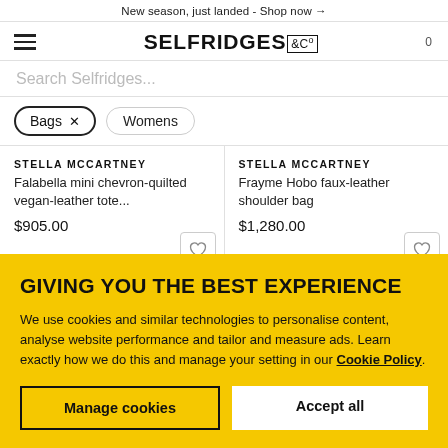New season, just landed - Shop now →
[Figure (logo): Selfridges & Co logo with hamburger menu and cart]
Search Selfridges...
Bags ×
Womens
STELLA MCCARTNEY
Falabella mini chevron-quilted vegan-leather tote...
$905.00
STELLA MCCARTNEY
Frayme Hobo faux-leather shoulder bag
$1,280.00
GIVING YOU THE BEST EXPERIENCE
We use cookies and similar technologies to personalise content, analyse website performance and tailor and measure ads. Learn exactly how we do this and manage your setting in our Cookie Policy.
Manage cookies
Accept all